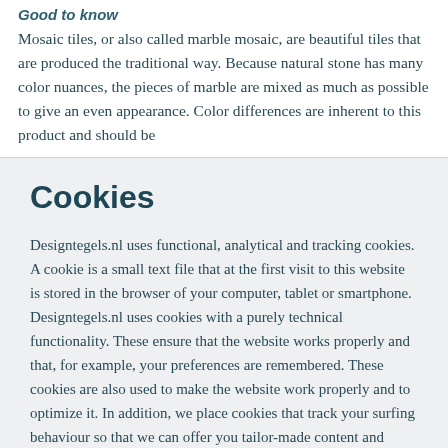Good to know
Mosaic tiles, or also called marble mosaic, are beautiful tiles that are produced the traditional way. Because natural stone has many color nuances, the pieces of marble are mixed as much as possible to give an even appearance. Color differences are inherent to this product and should be
Cookies
Designtegels.nl uses functional, analytical and tracking cookies. A cookie is a small text file that at the first visit to this website is stored in the browser of your computer, tablet or smartphone. Designtegels.nl uses cookies with a purely technical functionality. These ensure that the website works properly and that, for example, your preferences are remembered. These cookies are also used to make the website work properly and to optimize it. In addition, we place cookies that track your surfing behaviour so that we can offer you tailor-made content and advertisements. When you first visited our website, we informed you